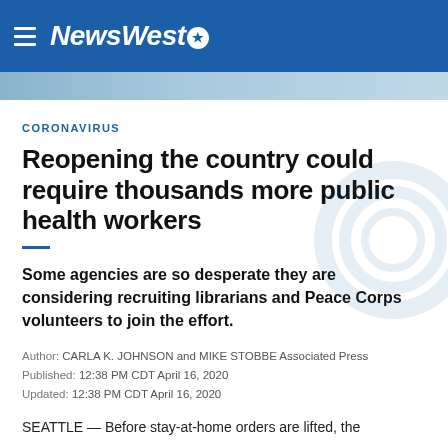NewsWest9
[Figure (photo): Hero image strip showing outdoor scene]
CORONAVIRUS
Reopening the country could require thousands more public health workers
Some agencies are so desperate they are considering recruiting librarians and Peace Corps volunteers to join the effort.
Author: CARLA K. JOHNSON and MIKE STOBBE Associated Press
Published: 12:38 PM CDT April 16, 2020
Updated: 12:38 PM CDT April 16, 2020
SEATTLE — Before stay-at-home orders are lifted, the